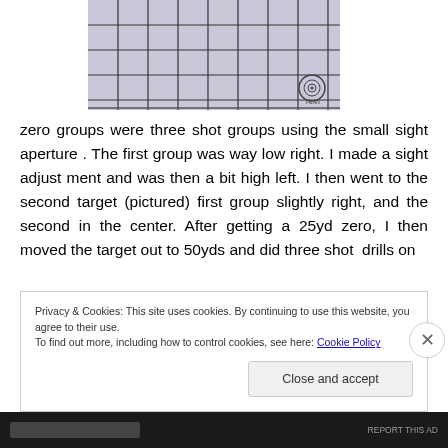[Figure (photo): A gridded paper target with a small circular target/logo in the bottom right corner, showing a light gray background with a dark grid pattern.]
zero groups were three shot groups using the small sight aperture . The first group was way low right. I made a sight adjust ment and was then a bit high left. I then went to the second target (pictured) first group slightly right, and the second in the center. After getting a 25yd zero, I then moved the target out to 50yds and did three shot  drills on
Privacy & Cookies: This site uses cookies. By continuing to use this website, you agree to their use.
To find out more, including how to control cookies, see here: Cookie Policy
Close and accept